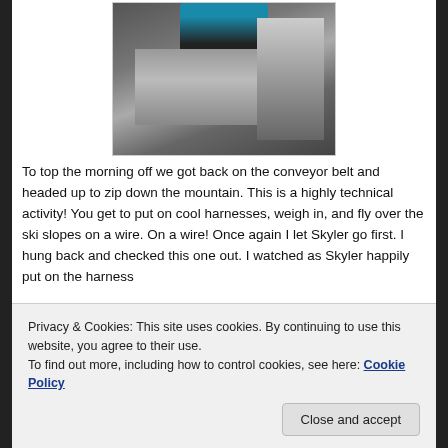[Figure (photo): A person in a teal jacket and black gloves working on or leaning against a grey wall with wooden framing and scaffolding visible, outdoors in what appears to be a ski resort setting.]
To top the morning off we got back on the conveyor belt and headed up to zip down the mountain. This is a highly technical activity! You get to put on cool harnesses, weigh in, and fly over the ski slopes on a wire. On a wire! Once again I let Skyler go first. I hung back and checked this one out. I watched as Skyler happily put on the harness
Privacy & Cookies: This site uses cookies. By continuing to use this website, you agree to their use.
To find out more, including how to control cookies, see here: Cookie Policy
Close and accept